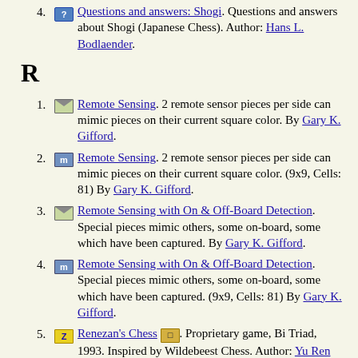4. [icon] Questions and answers: Shogi. Questions and answers about Shogi (Japanese Chess). Author: Hans L. Bodlaender.
R
1. [icon] Remote Sensing. 2 remote sensor pieces per side can mimic pieces on their current square color. By Gary K. Gifford.
2. [icon] Remote Sensing. 2 remote sensor pieces per side can mimic pieces on their current square color. (9x9, Cells: 81) By Gary K. Gifford.
3. [icon] Remote Sensing with On & Off-Board Detection. Special pieces mimic others, some on-board, some which have been captured. By Gary K. Gifford.
4. [icon] Remote Sensing with On & Off-Board Detection. Special pieces mimic others, some on-board, some which have been captured. (9x9, Cells: 81) By Gary K. Gifford.
5. [icon] Renezan's Chess [icon]. Proprietary game, Bi Triad, 1993. Inspired by Wildebeest Chess. Author: Yu Ren Dong. Inventor: BiTriad